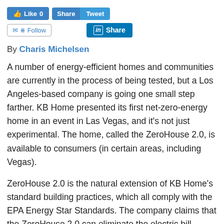[Figure (screenshot): Social media sharing buttons: Like 0 (Facebook), Share/Tweet (Twitter), Follow (email/RSS), Share (LinkedIn)]
By Charis Michelsen
A number of energy-efficient homes and communities are currently in the process of being tested, but a Los Angeles-based company is going one small step farther. KB Home presented its first net-zero-energy home in an event in Las Vegas, and it's not just experimental. The home, called the ZeroHouse 2.0, is available to consumers (in certain areas, including Vegas).
ZeroHouse 2.0 is the natural extension of KB Home's standard building practices, which all comply with the EPA Energy Star Standards. The company claims that the ZeroHouse 2.0 can eliminate the electric bill altogether; in the ridiculously hot weather of Nevada, that's quite a feat.